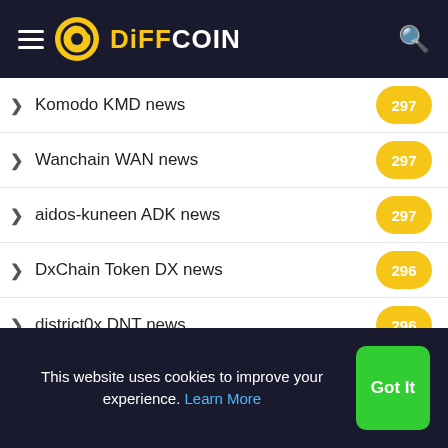DiFFCOIN
Komodo KMD news 297
Wanchain WAN news 297
aidos-kuneen ADK news 297
DxChain Token DX news 296
district0x DNT news 296
Electroneum ETN news 296
Ardor ARDR news 293
JUST JST news 293
power-ledger POWR news 293
MCO news 293
This website uses cookies to improve your experience. Learn More